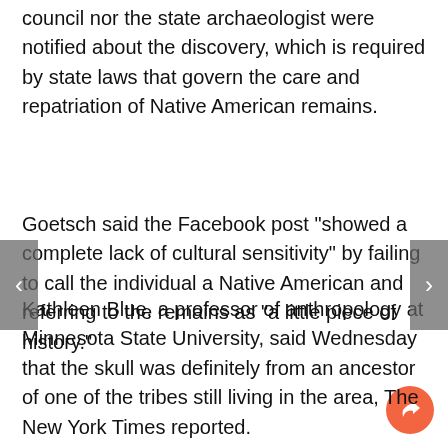council nor the state archaeologist were notified about the discovery, which is required by state laws that govern the care and repatriation of Native American remains.
Goetsch said the Facebook post "showed a complete lack of cultural sensitivity" by failing to call the individual a Native American and referring to the remains as "a little piece of history."
Kathleen Blue, a professor of anthropology at Minnesota State University, said Wednesday that the skull was definitely from an ancestor of one of the tribes still living in the area, The New York Times reported.